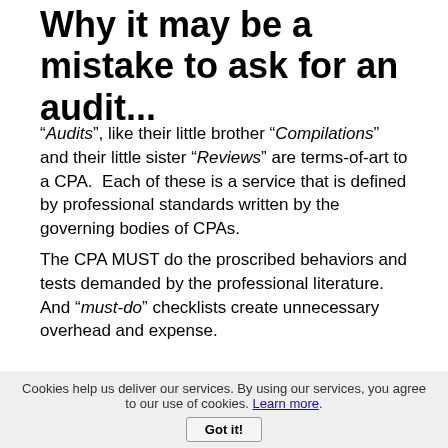Why it may be a mistake to ask for an audit...
“Audits”, like their little brother “Compilations” and their little sister “Reviews” are terms-of-art to a CPA.  Each of these is a service that is defined by professional standards written by the governing bodies of CPAs.
The CPA MUST do the proscribed behaviors and tests demanded by the professional literature.  And “must-do” checklists create unnecessary overhead and expense.
For example, an auditor must formally
Cookies help us deliver our services. By using our services, you agree to our use of cookies. Learn more. Got it!